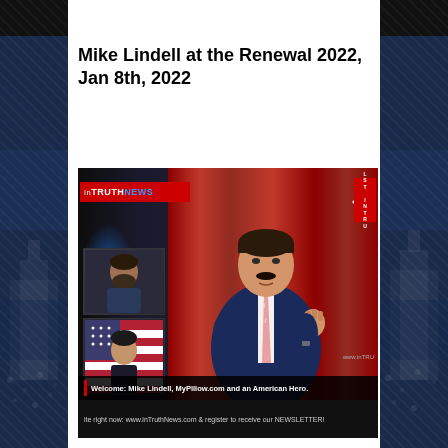Mike Lindell at the Renewal 2022, Jan 8th, 2022
[Figure (screenshot): Screenshot of an InTruthNews broadcast showing Mike Lindell speaking at a podium in front of a red curtain backdrop. The broadcast includes two small video thumbnails in the lower left panel showing other participants. The lower chyron reads 'Welcome: Mike Lindell, MyPillow.com and an American Hero.' and a ticker at the bottom shows 'site right now: www.inTruthNews.com & register to receive our NEWSLETTER!']